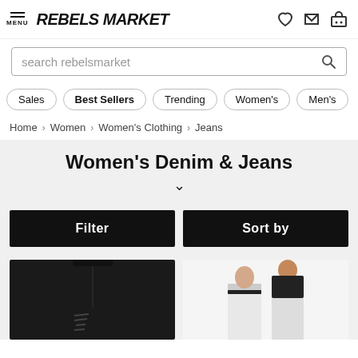MENU | RebelsMarket
search rebelsmarket
Sales
Best Sellers
Trending
Women's
Men's
Home > Women > Women's Clothing > Jeans
Women's Denim & Jeans
Filter
Sort by
[Figure (photo): Dark distressed ripped black jeans product photo]
[Figure (photo): White jeans worn by model with gothic accessories]